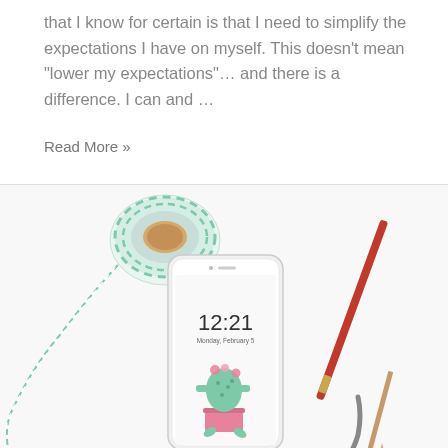that I know for certain is that I need to simplify the expectations I have on myself. This doesn't mean "lower my expectations"… and there is a difference. I can and …
Read More »
[Figure (photo): Flat lay photo on white background showing a spool of green and white twine with loose thread, a white smartphone displaying lock screen with time 12:21 and Monday February 5, showing a cactus illustration wallpaper, and a red-handled paint brush with a pencil.]